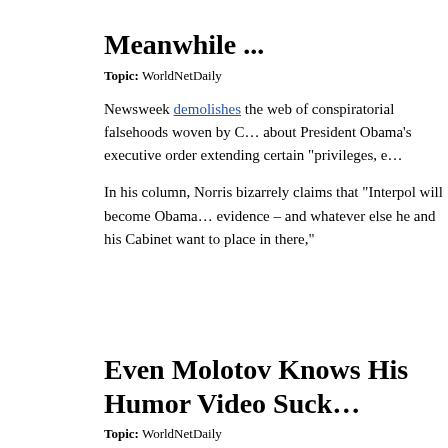Meanwhile ...
Topic: WorldNetDaily
Newsweek demolishes the web of conspiratorial falsehoods woven by Chuck Norris about President Obama's executive order extending certain "privileges, e...
In his column, Norris bizarrely claims that "Interpol will become Obama's evidence – and whatever else he and his Cabinet want to place in there,"
Even Molotov Knows His Humor Video Suck...
Topic: WorldNetDaily
When your "comedy" video is more notable for being hateful and homo... Molotov Mitchell minion D.J. Dolce keeps up the hateful "humor" in he...
Randall Terry has recently called for the burning of effigies of he... Reid and Barack Obama. This is not to be confused with Moloto... Bala is Reid and Obama...